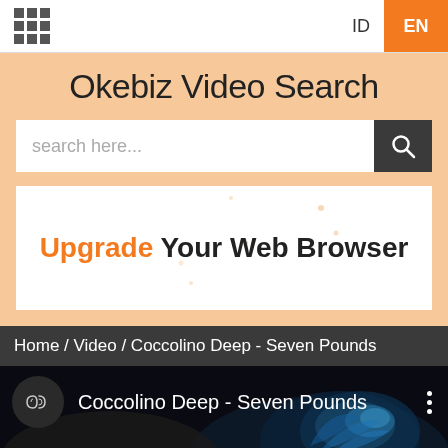ID  EN
Okebiz Video Search
search here...
[Figure (screenshot): Web browser upgrade advertisement banner with orange 'Upgrade' text and decorative dots]
Home / Video / Coccolino Deep - Seven Pounds
[Figure (screenshot): Video card showing Coccolino Deep - Seven Pounds with dark thumbnail featuring blue glowing artistic imagery and circular logo icon]